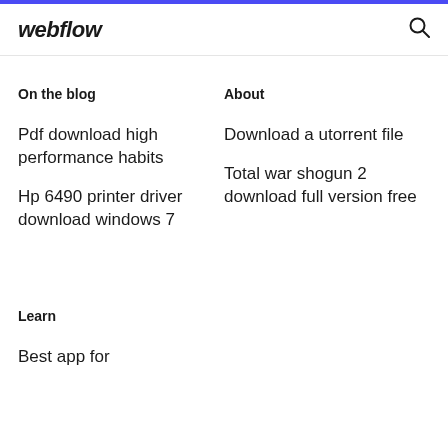webflow
On the blog
About
Pdf download high performance habits
Download a utorrent file
Hp 6490 printer driver download windows 7
Total war shogun 2 download full version free
Learn
Best app for